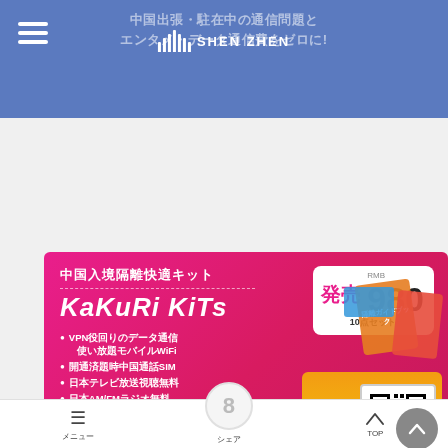中国出張・駐在中の通信問題とエンタメ・データ通信費をゼロに!
[Figure (infographic): KaKuRi KiTs advertisement banner in pink/magenta. Text: 中国入境隔離快適キット, KaKuRi KiTs, 発売 RMB 980 10点セット. Bullet points: VPN役回りのデータ通信使い放題モバイルWiFi, 開通済題時中国通話SIM, 日本テレビ放送視聴無料, 日本AM/FMラジオ無料, 隔離ガイドブック. など 10点セット入りBOX. Product image with QR code on right side.]
AQI (PM2.5)
□□□□□□□□□□□
メニュー　　シェア　　TOP